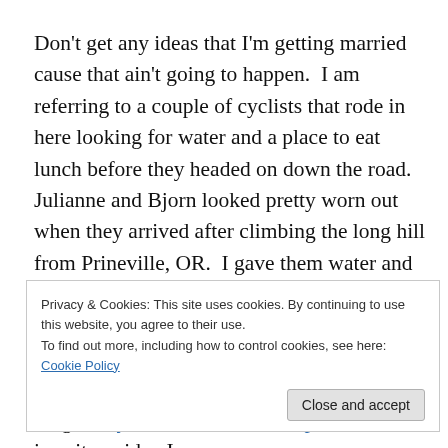Don't get any ideas that I'm getting married cause that ain't going to happen.  I am referring to a couple of cyclists that rode in here looking for water and a place to eat lunch before they headed on down the road.  Julianne and Bjorn looked pretty worn out when they arrived after climbing the long hill from Prineville, OR.  I gave them water and they plopped down to have lunch and take a relaxing break.  They are both from Spokane, WA and they drove down to Walla Walla where they started their adventure.  Then they cycled down to Crater Lake, OR which is quite a ride.  I
Privacy & Cookies: This site uses cookies. By continuing to use this website, you agree to their use.
To find out more, including how to control cookies, see here: Cookie Policy
Close and accept
blog at dryearthandfloods.wordpress.com